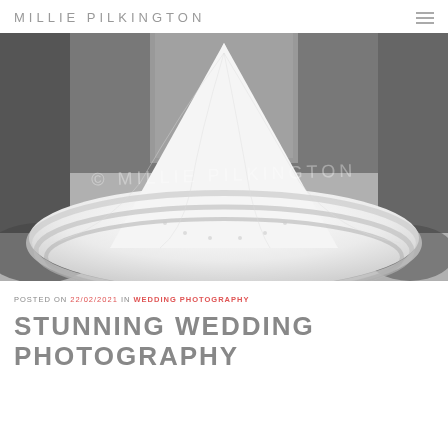MILLIE PILKINGTON
[Figure (photo): Black and white photograph of a wedding dress train spread out on the floor, showing elaborate lace detail. A watermark reads '© MILLIE PILKINGTON' across the center of the image.]
POSTED ON 22/02/2021 IN WEDDING PHOTOGRAPHY
STUNNING WEDDING PHOTOGRAPHY